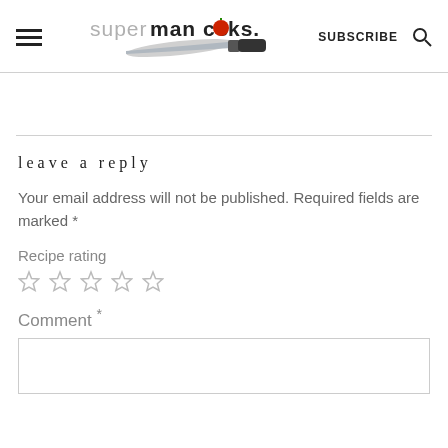superman cooks. SUBSCRIBE
leave a reply
Your email address will not be published. Required fields are marked *
Recipe rating
☆ ☆ ☆ ☆ ☆
Comment *